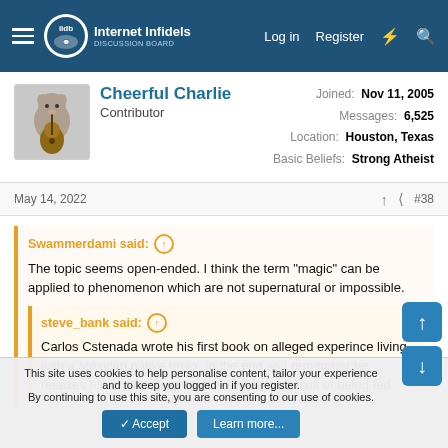Internet Infidels — Log in   Register
Cheerful Charlie
Contributor
Joined: Nov 11, 2005
Messages: 6,525
Location: Houston, Texas
Basic Beliefs: Strong Atheist
May 14, 2022   #38
Swammerdami said: ↑
The topic seems open-ended. I think the term "magic" can be applied to phenomenon which are not supernatural or impossible.

steve_bank said: ↑
Carlos Cstenada wrote his first book on alleged experince living with a Mexican native brujo. In the end as I remember he relaizes his mystical experiences were the result of being fed
This site uses cookies to help personalise content, tailor your experience and to keep you logged in if you register.
By continuing to use this site, you are consenting to our use of cookies.
Accept   Learn more...